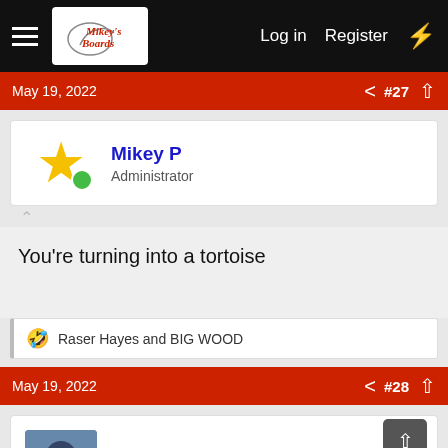Log in  Register
May 19, 2022  #27
Mikey P
Administrator
You're turning into a tortoise
🤣 Raser Hayes and BIG WOOD
May 19, 2022  #28
BIG WOOD
MLPW